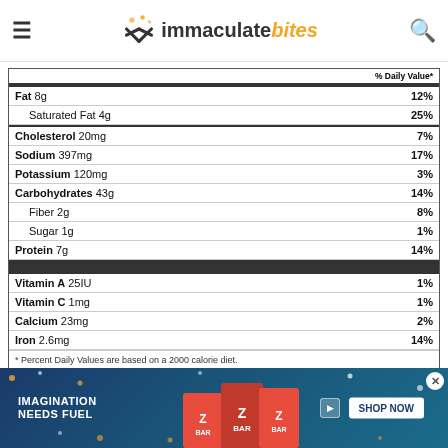immaculate bites
| Nutrient | % Daily Value |
| --- | --- |
| Fat 8g | 12% |
| Saturated Fat 4g | 25% |
| Cholesterol 20mg | 7% |
| Sodium 397mg | 17% |
| Potassium 120mg | 3% |
| Carbohydrates 43g | 14% |
| Fiber 2g | 8% |
| Sugar 1g | 1% |
| Protein 7g | 14% |
| Vitamin A 25IU | 1% |
| Vitamin C 1mg | 1% |
| Calcium 23mg | 2% |
| Iron 2.6mg | 14% |
* Percent Daily Values are based on a 2000 calorie diet.
[Figure (other): Advertisement banner for Clif Z Bar: IMAGINATION NEEDS FUEL with SHOP NOW button]